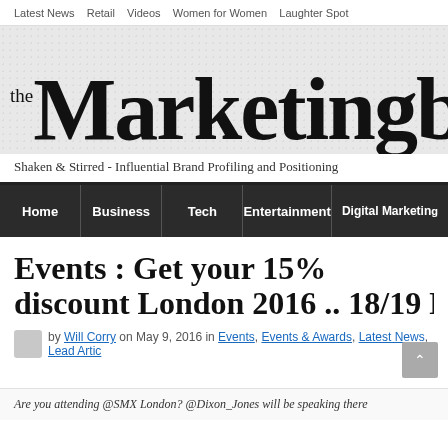Latest News   Retail   Videos   Women for Women   Laughter Spot
the Marketingblog
Shaken & Stirred - Influential Brand Profiling and Positioning
Home   Business   Tech   Entertainment   Digital Marketing
Events : Get your 15% discount London 2016 .. 18/19 May .. speak WEBMARKETINGBLOGSMX
by Will Corry on May 9, 2016 in Events, Events & Awards, Latest News, Lead Artic...
Are you attending @SMX London? @Dixon_Jones will be speaking there